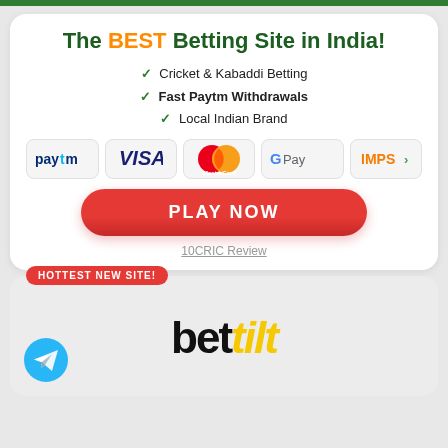The BEST Betting Site in India!
✓ Cricket & Kabaddi Betting
✓ Fast Paytm Withdrawals
✓ Local Indian Brand
[Figure (logo): Payment method logos: Paytm, VISA, MasterCard, Google Pay, IMPS]
PLAY NOW
10CRIC Review
HOTTEST NEW SITE!
[Figure (logo): bettilt logo with Telegram icon]